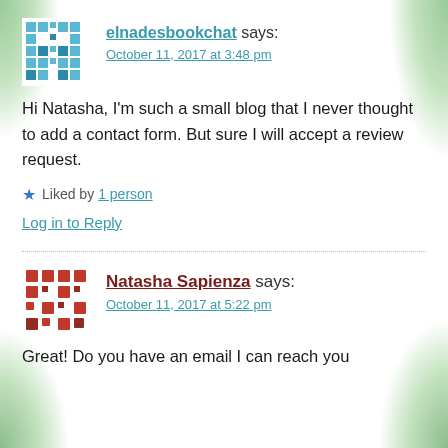elnadesbookchat says: October 11, 2017 at 3:48 pm
Hi Natasha, I'm such a small blog that I never thought to add a contact form. But sure I will accept a review request.
★ Liked by 1 person
Log in to Reply
Natasha Sapienza says: October 11, 2017 at 5:22 pm
Great! Do you have an email I can reach you